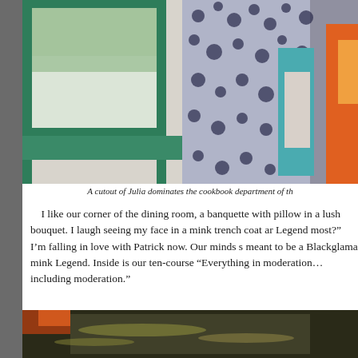[Figure (photo): A cutout of Julia Child dominates the cookbook department, shown near a green-framed window with books including a teal and white dotted cookbook visible.]
A cutout of Julia dominates the cookbook department of th
I like our corner of the dining room, a banquette with pillow in a lush bouquet. I laugh seeing my face in a mink trench coat ar Legend most?”  I’m falling in love with Patrick now. Our minds s meant to be a Blackglama mink Legend. Inside is our ten-course “Everything in moderation…including moderation.”
[Figure (photo): Close-up blurred photo of food, possibly a dark leafy or herb dish with olive oil.]